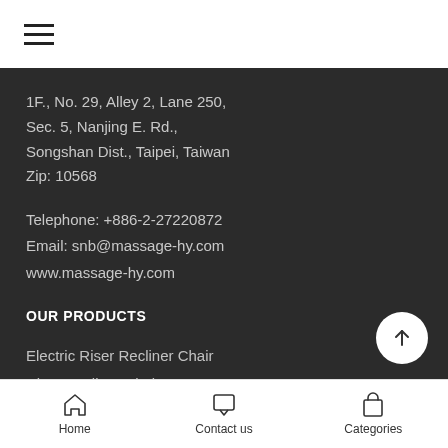☰ (hamburger menu icon)
1F., No. 29, Alley 2, Lane 250,
Sec. 5, Nanjing E. Rd.,
Songshan Dist., Taipei, Taiwan
Zip: 10568
Telephone: +886-2-27220872
Email: snb@massage-hy.com
www.massage-hy.com
OUR PRODUCTS
Electric Riser Recliner Chair
Riser Recliner Chair
Home  Contact us  Categories